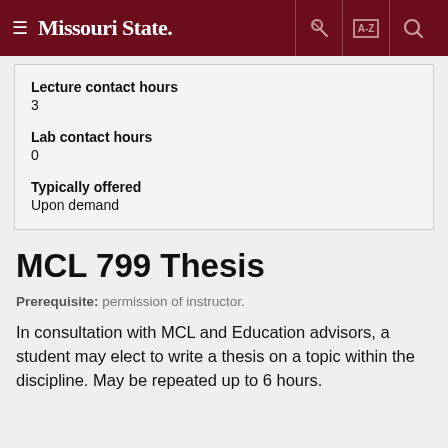Missouri State
Lecture contact hours
3
Lab contact hours
0
Typically offered
Upon demand
MCL 799 Thesis
Prerequisite: permission of instructor.
In consultation with MCL and Education advisors, a student may elect to write a thesis on a topic within the discipline. May be repeated up to 6 hours.